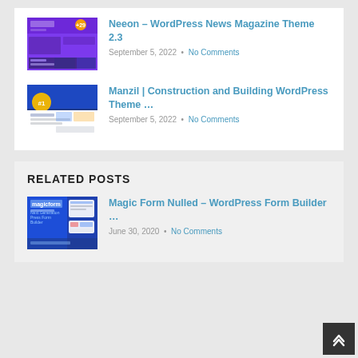Neeon – WordPress News Magazine Theme 2.3
September 5, 2022 · No Comments
Manzil | Construction and Building WordPress Theme …
September 5, 2022 · No Comments
RELATED POSTS
Magic Form Nulled – WordPress Form Builder …
June 30, 2020 · No Comments